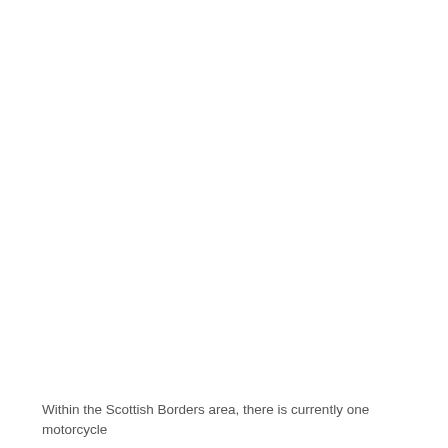Within the Scottish Borders area, there is currently one motorcycle